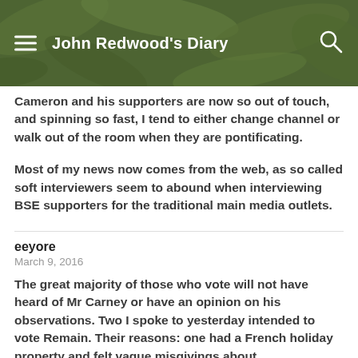John Redwood's Diary
Cameron and his supporters are now so out of touch, and spinning so fast, I tend to either change channel or walk out of the room when they are pontificating.
Most of my news now comes from the web, as so called soft interviewers seem to abound when interviewing BSE supporters for the traditional main media outlets.
eeyore
March 9, 2016
The great majority of those who vote will not have heard of Mr Carney or have an opinion on his observations. Two I spoke to yesterday intended to vote Remain. Their reasons: one had a French holiday property and felt vague misgivings about